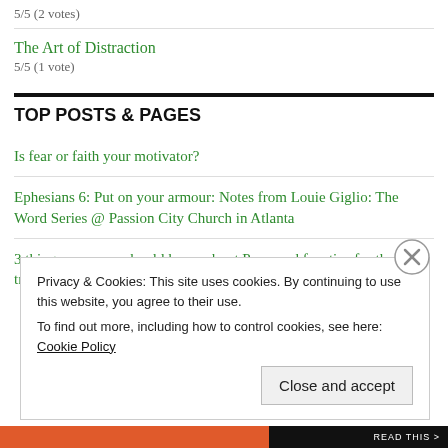5/5 (2 votes)
The Art of Distraction
5/5 (1 vote)
TOP POSTS & PAGES
Is fear or faith your motivator?
Ephesians 6: Put on your armour: Notes from Louie Giglio: The Word Series @ Passion City Church in Atlanta
3 things everyone should know about Peru, and few tips for those traveling to Machu Picchu.
Privacy & Cookies: This site uses cookies. By continuing to use this website, you agree to their use.
To find out more, including how to control cookies, see here: Cookie Policy
Close and accept